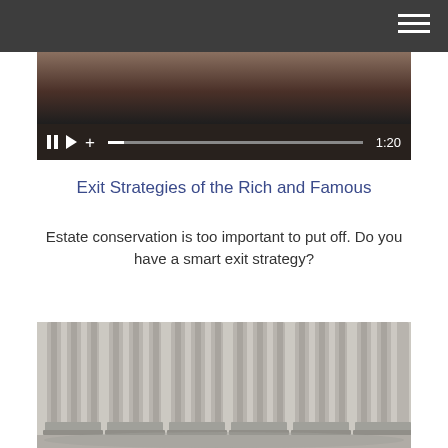[Figure (screenshot): Video player showing a paused video with controls bar displaying pause button, play button, plus button, progress bar, and timestamp 1:20]
Exit Strategies of the Rich and Famous
Estate conservation is too important to put off. Do you have a smart exit strategy?
[Figure (photo): Close-up photo of architectural columns in light grey/beige tones, showing classical pillar details]